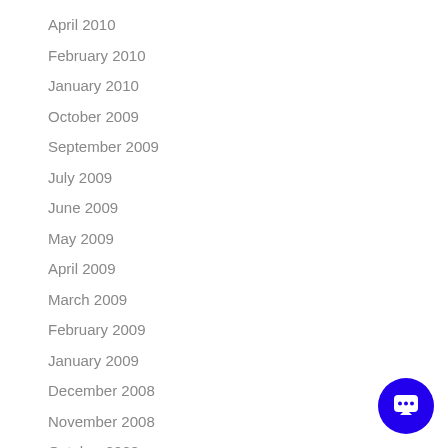April 2010
February 2010
January 2010
October 2009
September 2009
July 2009
June 2009
May 2009
April 2009
March 2009
February 2009
January 2009
December 2008
November 2008
October 2008